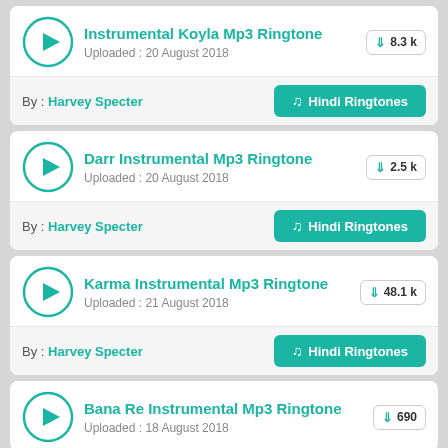Instrumental Koyla Mp3 Ringtone | Uploaded : 20 August 2018 | 8.3 k downloads | By : Harvey Specter | Hindi Ringtones
Darr Instrumental Mp3 Ringtone | Uploaded : 20 August 2018 | 2.5 k downloads | By : Harvey Specter | Hindi Ringtones
Karma Instrumental Mp3 Ringtone | Uploaded : 21 August 2018 | 48.1 k downloads | By : Harvey Specter | Hindi Ringtones
Bana Re Instrumental Mp3 Ringtone | Uploaded : 18 August 2018 | 690 downloads